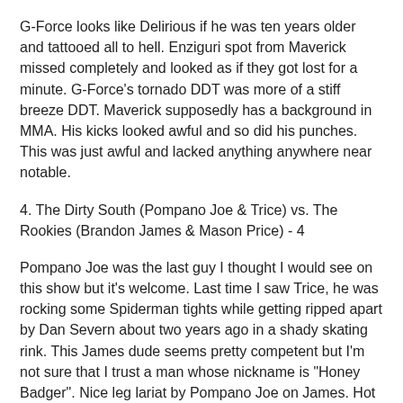G-Force looks like Delirious if he was ten years older and tattooed all to hell. Enziguri spot from Maverick missed completely and looked as if they got lost for a minute. G-Force's tornado DDT was more of a stiff breeze DDT. Maverick supposedly has a background in MMA. His kicks looked awful and so did his punches. This was just awful and lacked anything anywhere near notable.
4. The Dirty South (Pompano Joe & Trice) vs. The Rookies (Brandon James & Mason Price) - 4
Pompano Joe was the last guy I thought I would see on this show but it's welcome. Last time I saw Trice, he was rocking some Spiderman tights while getting ripped apart by Dan Severn about two years ago in a shady skating rink. This James dude seems pretty competent but I'm not sure that I trust a man whose nickname is "Honey Badger". Nice leg lariat by Pompano Joe on James. Hot tag to Price and he comes in with some fire and attitude. His running knees in the corner weren't half bad. Damn, Trice and Joe caught Price coming off the top rope in a powerbomb spot and then